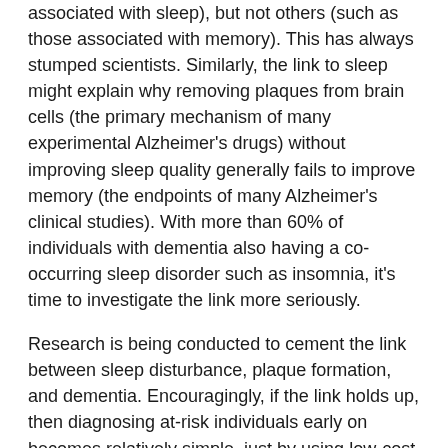associated with sleep), but not others (such as those associated with memory). This has always stumped scientists. Similarly, the link to sleep might explain why removing plaques from brain cells (the primary mechanism of many experimental Alzheimer's drugs) without improving sleep quality generally fails to improve memory (the endpoints of many Alzheimer's clinical studies). With more than 60% of individuals with dementia also having a co-occurring sleep disorder such as insomnia, it's time to investigate the link more seriously.
Research is being conducted to cement the link between sleep disturbance, plaque formation, and dementia. Encouragingly, if the link holds up, then diagnosing at-risk individuals early on becomes relatively simple, just by using low-cost and non-invasive equipment that reads electrical signals from the brain. Equipment that works in reverse – sending electrical signals to the brain – is being studied for its potential to artificially improve sleep quality and memory. In other words, perhaps the future of Alzheimer's treatments resides in devices, not drugs.